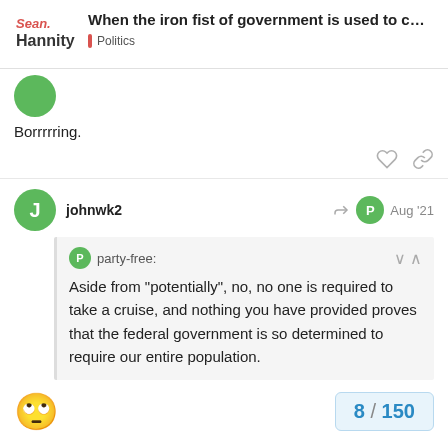When the iron fist of government is used to c... | Politics
Borrrrring.
johnwk2  Aug '21
party-free:
Aside from “potentially”, no, no one is required to take a cruise, and nothing you have provided proves that the federal government is so determined to require our entire population.
8 / 150